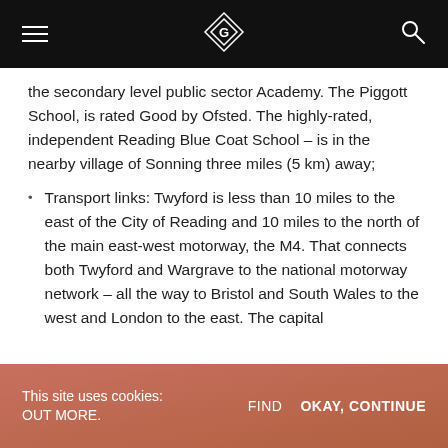[Navigation bar with hamburger menu, logo, and search icon]
the secondary level public sector Academy. The Piggott School, is rated Good by Ofsted. The highly-rated, independent Reading Blue Coat School – is in the nearby village of Sonning three miles (5 km) away;
Transport links: Twyford is less than 10 miles to the east of the City of Reading and 10 miles to the north of the main east-west motorway, the M4. That connects both Twyford and Wargrave to the national motorway network – all the way to Bristol and South Wales to the west and London to the east. The capital
This site uses cookies: FIND OUT MORE. OKAY, CONTINUE